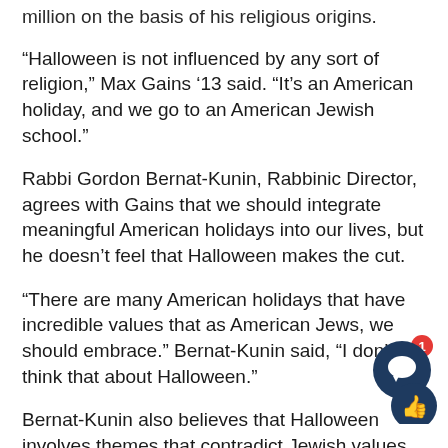million on the basis of his religious origins.
“Halloween is not influenced by any sort of religion,” Max Gains ’13 said. “It’s an American holiday, and we go to an American Jewish school.”
Rabbi Gordon Bernat-Kunin, Rabbinic Director, agrees with Gains that we should integrate meaningful American holidays into our lives, but he doesn’t feel that Halloween makes the cut.
“There are many American holidays that have incredible values that as American Jews, we should embrace.” Bernat-Kunin said, “I don’t think that about Halloween.”
Bernat-Kunin also believes that Halloween involves themes that contradict Jewish values.
“Halloween has a lot of imagery of death,” Bernat-Kunin said. “Sometimes it can celebrate the death culture. Our Jewish tradition is very focused on ‘choose life.’ We celebrate life.”